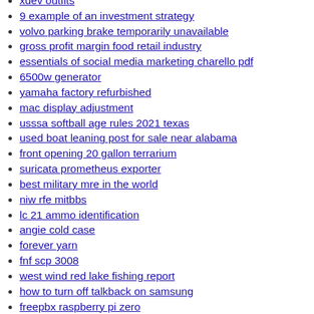xdev outfits
9 example of an investment strategy
volvo parking brake temporarily unavailable
gross profit margin food retail industry
essentials of social media marketing charello pdf
6500w generator
yamaha factory refurbished
mac display adjustment
usssa softball age rules 2021 texas
used boat leaning post for sale near alabama
front opening 20 gallon terrarium
suricata prometheus exporter
best military mre in the world
niw rfe mitbbs
lc 21 ammo identification
angie cold case
forever yarn
fnf scp 3008
west wind red lake fishing report
how to turn off talkback on samsung
freepbx raspberry pi zero
loc updo
data engineer facebook interview
ep forklift manual
abaqus python excel